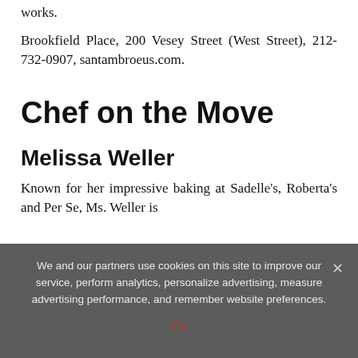works.
Brookfield Place, 200 Vesey Street (West Street), 212-732-0907, santambroeus.com.
Chef on the Move
Melissa Weller
Known for her impressive baking at Sadelle's, Roberta's and Per Se, Ms. Weller is
We and our partners use cookies on this site to improve our service, perform analytics, personalize advertising, measure advertising performance, and remember website preferences.